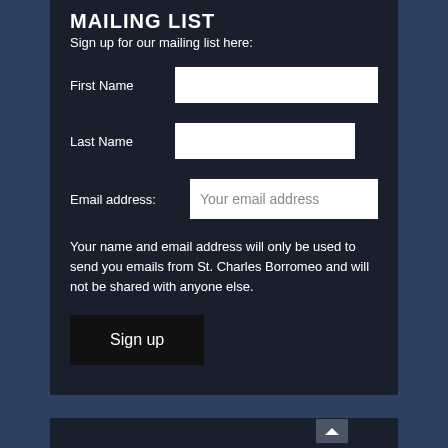MAILING LIST
Sign up for our mailing list here:
First Name
Last Name
Email address: Your email address
Your name and email address will only be used to send you emails from St. Charles Borromeo and will not be shared with anyone else.
Sign up